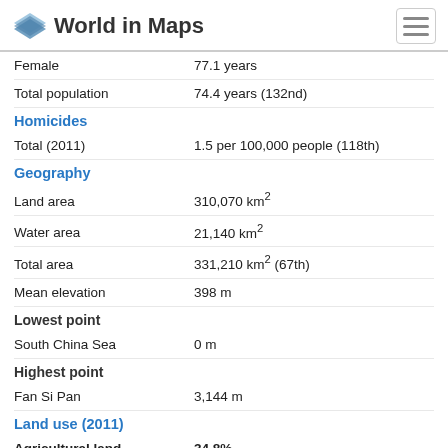World in Maps
| Label | Value |
| --- | --- |
| Female | 77.1 years |
| Total population | 74.4 years (132nd) |
| Homicides |  |
| Total (2011) | 1.5 per 100,000 people (118th) |
| Geography |  |
| Land area | 310,070 km² |
| Water area | 21,140 km² |
| Total area | 331,210 km² (67th) |
| Mean elevation | 398 m |
| Lowest point |  |
| South China Sea | 0 m |
| Highest point |  |
| Fan Si Pan | 3,144 m |
| Land use (2011) |  |
| Agricultural land | 34.8% |
| Arable land | 20.6% |
| Permanent crops | 12.1% |
| Permanent pastures | 2.1% |